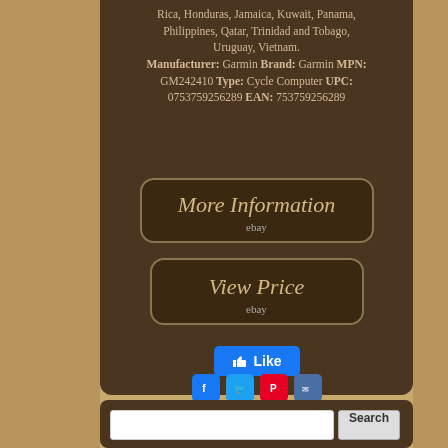Rica, Honduras, Jamaica, Kuwait, Panama, Philippines, Qatar, Trinidad and Tobago, Uruguay, Vietnam. Manufacturer: Garmin Brand: Garmin MPN: GM242410 Type: Cycle Computer UPC: 0753759256289 EAN: 753759256289
[Figure (other): More Information button with eBay label]
[Figure (other): View Price button with eBay label]
[Figure (other): Facebook Like button]
[Figure (other): Social sharing icons: Facebook, Twitter, Pinterest, Email]
[Figure (other): Search bar with text input and Search button]